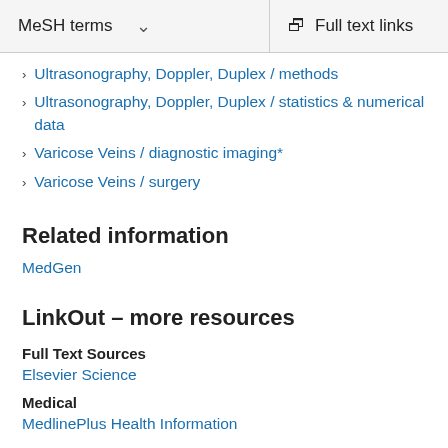MeSH terms   ∨   Full text links
Ultrasonography, Doppler, Duplex / methods
Ultrasonography, Doppler, Duplex / statistics & numerical data
Varicose Veins / diagnostic imaging*
Varicose Veins / surgery
Related information
MedGen
LinkOut – more resources
Full Text Sources
Elsevier Science
Medical
MedlinePlus Health Information